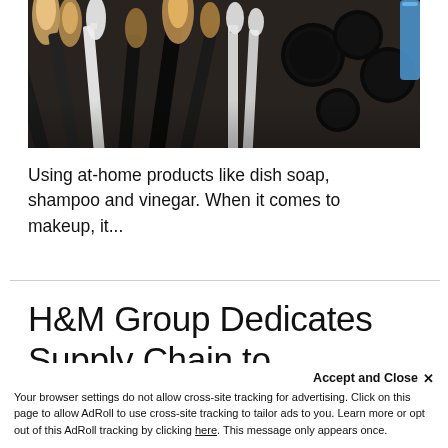[Figure (photo): Photo of makeup brushes arranged with black handles visible, bristles fanning out, against a dark background with cosmetic products]
Using at-home products like dish soap, shampoo and vinegar. When it comes to makeup, it...
H&M Group Dedicates Supply Chain to Producing
Accept and Close ✕
Your browser settings do not allow cross-site tracking for advertising. Click on this page to allow AdRoll to use cross-site tracking to tailor ads to you. Learn more or opt out of this AdRoll tracking by clicking here. This message only appears once.